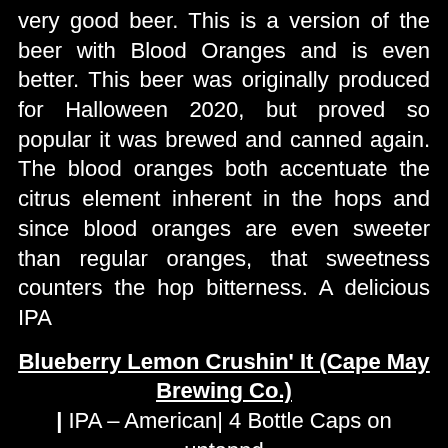very good beer. This is a version of the beer with Blood Oranges and is even better. This beer was originally produced for Halloween 2020, but proved so popular it was brewed and canned again. The blood oranges both accentuate the citrus element inherent in the hops and since blood oranges are even sweeter than regular oranges, that sweetness counters the hop bitterness. A delicious IPA
Blueberry Lemon Crushin' It (Cape May Brewing Co.) | IPA – American| 4 Bottle Caps on untappd
[Figure (photo): Photo of a Cape May branded glass filled with a dark reddish-purple beer with a foamy white head, next to a Cape May Brewing Co. can with a yellow and white label, set against a dark outdoor background.]